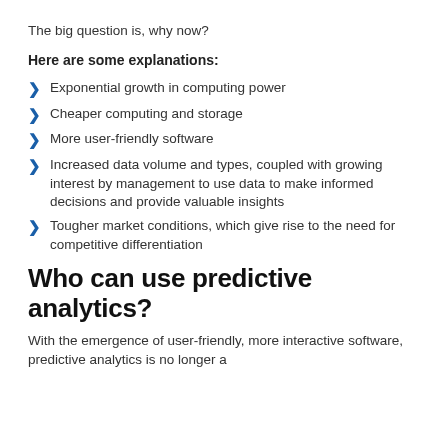The big question is, why now?
Here are some explanations:
Exponential growth in computing power
Cheaper computing and storage
More user-friendly software
Increased data volume and types, coupled with growing interest by management to use data to make informed decisions and provide valuable insights
Tougher market conditions, which give rise to the need for competitive differentiation
Who can use predictive analytics?
With the emergence of user-friendly, more interactive software, predictive analytics is no longer a